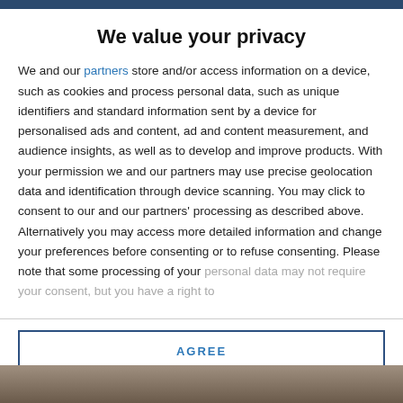We value your privacy
We and our partners store and/or access information on a device, such as cookies and process personal data, such as unique identifiers and standard information sent by a device for personalised ads and content, ad and content measurement, and audience insights, as well as to develop and improve products. With your permission we and our partners may use precise geolocation data and identification through device scanning. You may click to consent to our and our partners' processing as described above. Alternatively you may access more detailed information and change your preferences before consenting or to refuse consenting. Please note that some processing of your personal data may not require your consent, but you have a right to
AGREE
MORE OPTIONS
[Figure (photo): Bottom partial image strip showing a blurred outdoor/portrait scene]